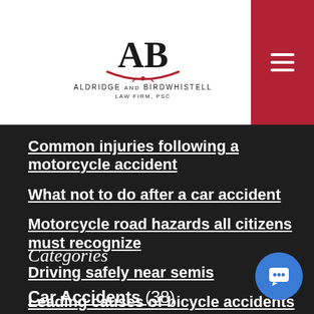[Figure (logo): Aldridge & Birdwhistell Law Firm, PSC logo with scales of justice]
Common injuries following a motorcycle accident
What not to do after a car accident
Motorcycle road hazards all citizens must recognize
Driving safely near semis
Leading causes of bicycle accidents
Categories
Car Accidents (38)